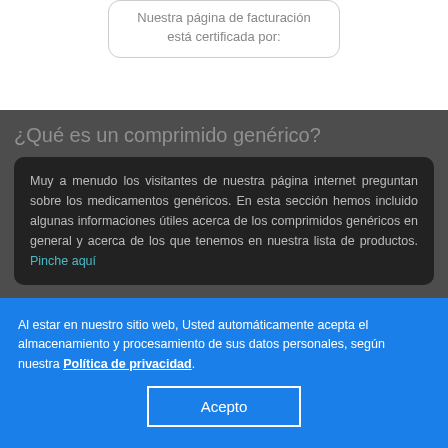Nuestra página de facturación está certificada por:
¿Qué es un comprimido genérico?
Muy a menudo los visitantes de nuestra página internet preguntan sobre los medicamentos genéricos. En esta sección hemos incluido algunas informaciones útiles acerca de los comprimidos genéricos en general y acerca de los que tenemos en nuestra lista de productos. Pinche aquí
Testimonios
Al estar en nuestro sitio web, Usted automáticamente acepta el almacenamiento y procesamiento de sus datos personales, según nuestra Política de privacidad.
Acepto